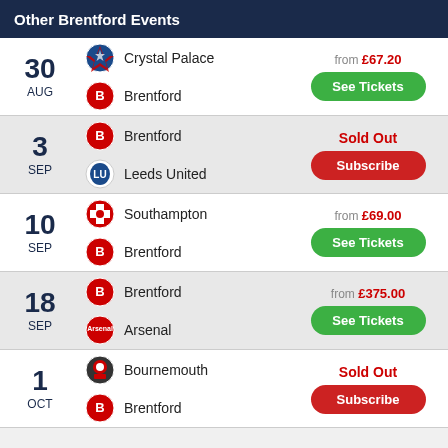Other Brentford Events
| Date | Teams | Price/Action |
| --- | --- | --- |
| 30 AUG | Crystal Palace vs Brentford | from £67.20 / See Tickets |
| 3 SEP | Brentford vs Leeds United | Sold Out / Subscribe |
| 10 SEP | Southampton vs Brentford | from £69.00 / See Tickets |
| 18 SEP | Brentford vs Arsenal | from £375.00 / See Tickets |
| 1 OCT | Bournemouth vs Brentford | Sold Out / Subscribe |